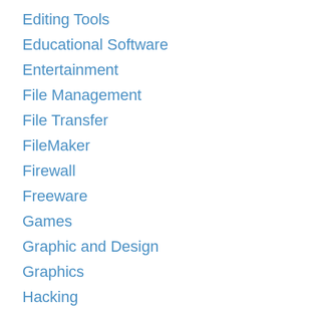Editing Tools
Educational Software
Entertainment
File Management
File Transfer
FileMaker
Firewall
Freeware
Games
Graphic and Design
Graphics
Hacking
Image Editor